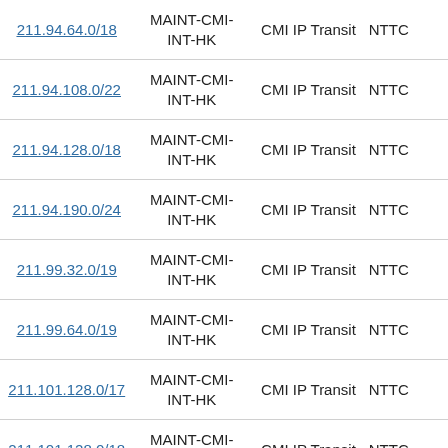| IP Prefix | Route Policy | Service Type | Provider |
| --- | --- | --- | --- |
| 211.94.64.0/18 | MAINT-CMI-INT-HK | CMI IP Transit | NTTC |
| 211.94.108.0/22 | MAINT-CMI-INT-HK | CMI IP Transit | NTTC |
| 211.94.128.0/18 | MAINT-CMI-INT-HK | CMI IP Transit | NTTC |
| 211.94.190.0/24 | MAINT-CMI-INT-HK | CMI IP Transit | NTTC |
| 211.99.32.0/19 | MAINT-CMI-INT-HK | CMI IP Transit | NTTC |
| 211.99.64.0/19 | MAINT-CMI-INT-HK | CMI IP Transit | NTTC |
| 211.101.128.0/17 | MAINT-CMI-INT-HK | CMI IP Transit | NTTC |
| 211.101.128.0/18 | MAINT-CMI-INT-HK | CMI IP Transit | NTTC |